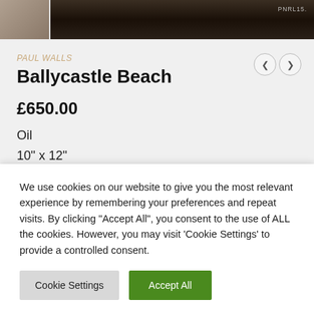[Figure (photo): Top strip showing a small thumbnail of a painting on the left and a larger dark painting detail on the right with a watermark text 'PNRL15.']
PAUL WALLS
Ballycastle Beach
£650.00
Oil
10" x 12"
We use cookies on our website to give you the most relevant experience by remembering your preferences and repeat visits. By clicking "Accept All", you consent to the use of ALL the cookies. However, you may visit 'Cookie Settings' to provide a controlled consent.
Cookie Settings
Accept All